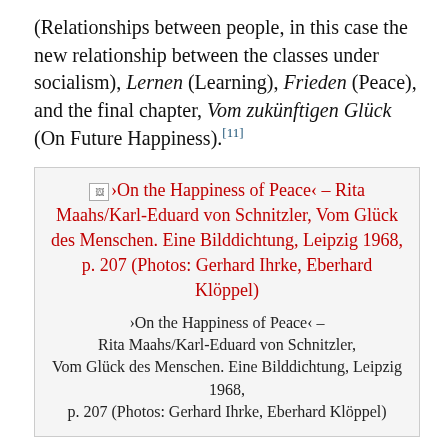(Relationships between people, in this case the new relationship between the classes under socialism), Lernen (Learning), Frieden (Peace), and the final chapter, Vom zukünftigen Glück (On Future Happiness).[11]
[Figure (other): Figure box with broken image icon and red hyperlink text: ›On the Happiness of Peace‹ – Rita Maahs/Karl-Eduard von Schnitzler, Vom Glück des Menschen. Eine Bilddichtung, Leipzig 1968, p. 207 (Photos: Gerhard Ihrke, Eberhard Klöppel), followed by a plain text caption repeating the same information.]
›On the Happiness of Peace‹ – Rita Maahs/Karl-Eduard von Schnitzler, Vom Glück des Menschen. Eine Bilddichtung, Leipzig 1968, p. 207 (Photos: Gerhard Ihrke, Eberhard Klöppel)
The process of developing a concept for the show and then compiling the images began in 1963: Maahs and Schnitzler sent a general call for image submission to 30,000 photographers,